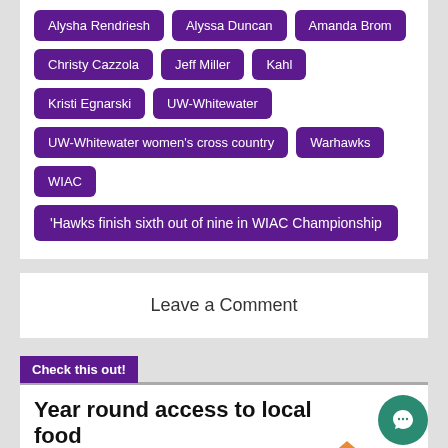Alysha Rendriesh
Alyssa Duncan
Amanda Brom
Christy Cazzola
Jeff Miller
Kahl
Kristi Egnarski
UW-Whitewater
UW-Whitewater women's cross country
Warhawks
WIAC
'Hawks finish sixth out of nine in WIAC Championship
Leave a Comment
Check this out!
Year round access to local food